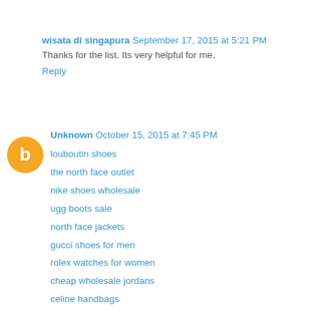wisata di singapura  September 17, 2015 at 5:21 PM
Thanks for the list. Its very helpful for me.
Reply
Unknown  October 15, 2015 at 7:45 PM
louboutin shoes
the north face outlet
nike shoes wholesale
ugg boots sale
north face jackets
gucci shoes for men
rolex watches for women
cheap wholesale jordans
celine handbags
juicy couture outlet
gucci sunglasses
fitflops clearance
air jordan shoes for sale